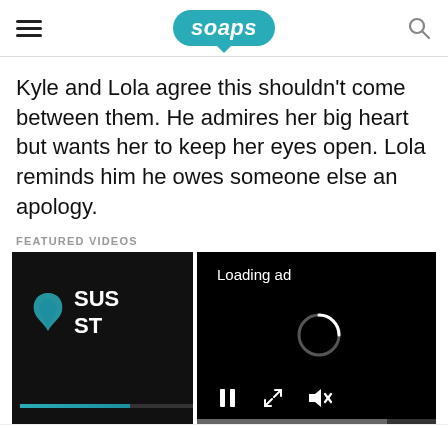soaps
Kyle and Lola agree this shouldn't come between them. He admires her big heart but wants her to keep her eyes open. Lola reminds him he owes someone else an apology.
FEATURED VIDEOS
[Figure (screenshot): A video player showing a soap opera episode thumbnail on the left (partial logo reading SUS ST with a teal swirl icon and a teal progress bar) and an ad loading overlay on the right (black background with 'Loading ad' text, a spinning loading indicator, and media controls: pause, expand, mute)]